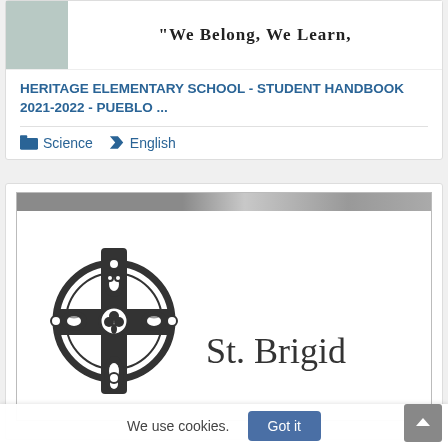[Figure (screenshot): Top portion of a school document thumbnail showing partial text 'We Belong, We Learn,' with a grey thumbnail box on the left]
HERITAGE ELEMENTARY SCHOOL - STUDENT HANDBOOK 2021-2022 - PUEBLO ...
Science   English
[Figure (logo): St. Brigid school logo showing a Celtic cross with ornate knotwork and the text 'St. Brigid' beside it, below a grey header bar]
We use cookies.
Got it